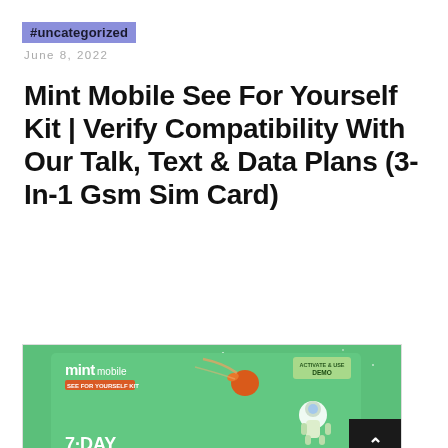#uncategorized
June 8, 2022
Mint Mobile See For Yourself Kit | Verify Compatibility With Our Talk, Text & Data Plans (3-In-1 Gsm Sim Card)
[Figure (photo): Mint Mobile product packaging on a green background, showing a 7-Day trial SIM card kit with astronaut illustration and meteor graphic, with a dark back-to-top button in the bottom right corner.]